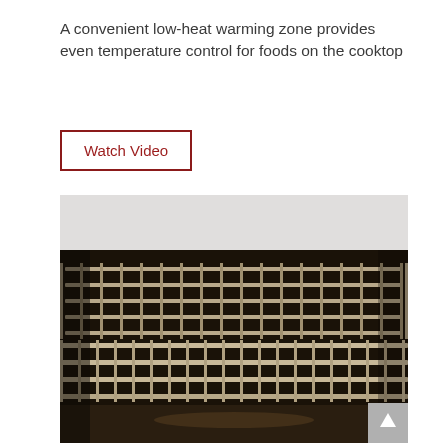A convenient low-heat warming zone provides even temperature control for foods on the cooktop
Watch Video
[Figure (photo): Close-up photograph of oven interior showing metal wire racks/grates with a dark background, sepia-toned image showing oven racks at an angle]